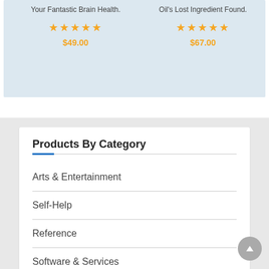Your Fantastic Brain Health.
★★★★★ $49.00
Oil's Lost Ingredient Found.
★★★★★ $67.00
Products By Category
Arts & Entertainment
Self-Help
Reference
Software & Services
Languages